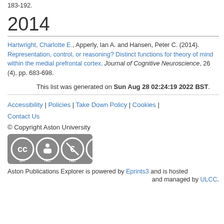183-192.
2014
Hartwright, Charlotte E., Apperly, Ian A. and Hansen, Peter C. (2014). Representation, control, or reasoning? Distinct functions for theory of mind within the medial prefrontal cortex. Journal of Cognitive Neuroscience, 26 (4), pp. 683-698.
This list was generated on Sun Aug 28 02:24:19 2022 BST.
Accessibility | Policies | Take Down Policy | Cookies | Contact Us
© Copyright Aston University
Aston Publications Explorer is powered by Eprints3 and is hosted and managed by ULCC.